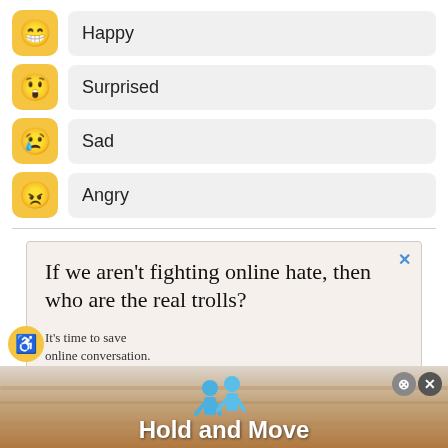Happy
Surprised
Sad
Angry
[Figure (infographic): Advertisement with text: If we aren't fighting online hate, then who are the real trolls? It's time to save online conversation.]
[Figure (infographic): Bottom banner ad showing two blue figures and text: Hold and Move]